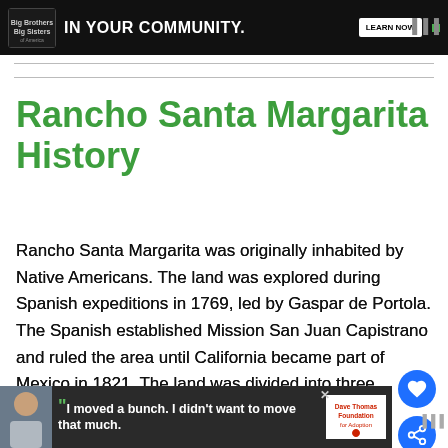[Figure (screenshot): Top advertisement banner with Big Brothers Big Sisters of America logo and text 'IN YOUR COMMUNITY.' with a Learn Now button on dark background]
Rancho Santa Margarita History
Rancho Santa Margarita was originally inhabited by Native Americans. The land was explored during Spanish expeditions in 1769, led by Gaspar de Portola. The Spanish established Mission San Juan Capistrano and ruled the area until California became part of Mexico in 1821. The land was divided into three Ranchos. Rancho Mission Viejo, Rancho Santa Margarita, and Rancho Trabuco. In 1882, James L. Flood and Jerome O'Neill pu... ra... the...
[Figure (screenshot): Bottom advertisement banner with Dave Thomas Foundation for Adoption quote 'I moved a bunch. I didn't want to move that much.' with a young man's photo]